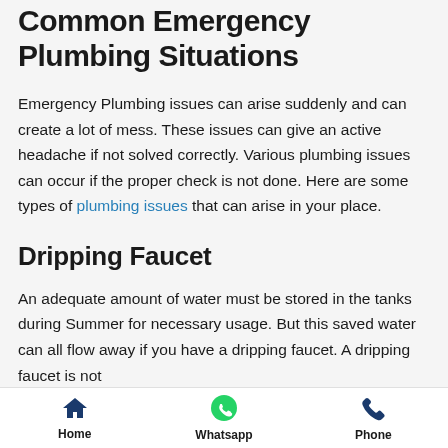Common Emergency Plumbing Situations
Emergency Plumbing issues can arise suddenly and can create a lot of mess. These issues can give an active headache if not solved correctly. Various plumbing issues can occur if the proper check is not done. Here are some types of plumbing issues that can arise in your place.
Dripping Faucet
An adequate amount of water must be stored in the tanks during Summer for necessary usage. But this saved water can all flow away if you have a dripping faucet. A dripping faucet is not
Home   Whatsapp   Phone